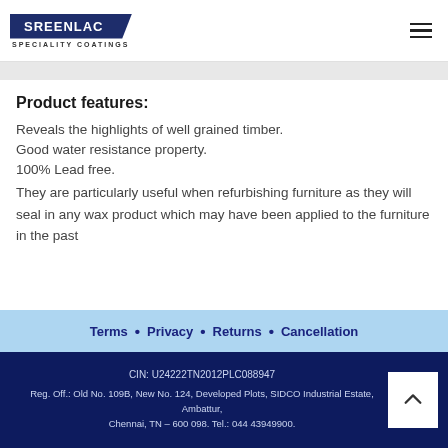SREENLAC SPECIALITY COATINGS
Product features:
Reveals the highlights of well grained timber.
Good water resistance property.
100% Lead free.
They are particularly useful when refurbishing furniture as they will seal in any wax product which may have been applied to the furniture in the past
Terms • Privacy • Returns • Cancellation
CIN: U24222TN2012PLC088947
Reg. Off.: Old No. 109B, New No. 124, Developed Plots, SIDCO Industrial Estate, Ambattur, Chennai, TN – 600 098. Tel.: 044 43949900.